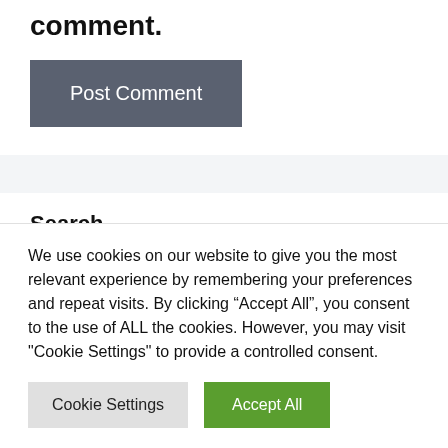comment.
Post Comment
Search
We use cookies on our website to give you the most relevant experience by remembering your preferences and repeat visits. By clicking “Accept All”, you consent to the use of ALL the cookies. However, you may visit "Cookie Settings" to provide a controlled consent.
Cookie Settings
Accept All